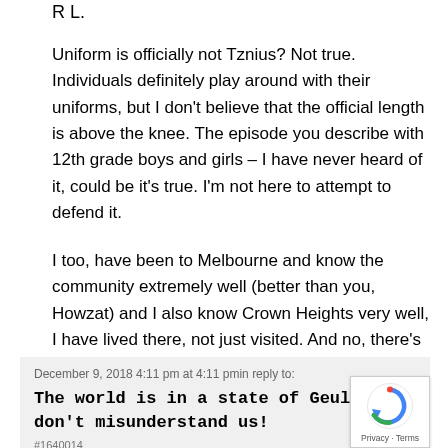R L.
Uniform is officially not Tznius? Not true. Individuals definitely play around with their uniforms, but I don't believe that the official length is above the knee. The episode you describe with 12th grade boys and girls – I have never heard of it, could be it's true. I'm not here to attempt to defend it.
I too, have been to Melbourne and know the community extremely well (better than you, Howzat) and I also know Crown Heights very well, I have lived there, not just visited. And no, there's not much to compare at all.
December 9, 2018 4:11 pm at 4:11 pmin reply to:
The world is in a state of Geula- and don't misunderstand us!
#1640014